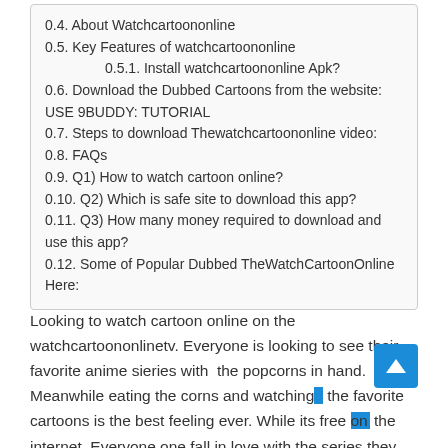0.4. About Watchcartoononline
0.5. Key Features of watchcartoononline
0.5.1. Install watchcartoononline Apk?
0.6. Download the Dubbed Cartoons from the website: USE 9BUDDY: TUTORIAL
0.7. Steps to download Thewatchcartoononline video:
0.8. FAQs
0.9. Q1) How to watch cartoon online?
0.10. Q2) Which is safe site to download this app?
0.11. Q3) How many money required to download and use this app?
0.12. Some of Popular Dubbed TheWatchCartoonOnline Here:
Looking to watch cartoon online on the watchcartoononlinetv. Everyone is looking to see their favorite anime sieries with  the popcorns in hand. Meanwhile eating the corns and watching the favorite cartoons is the best feeling ever. While its free on the internet. Everyone one fall in love with the series they are